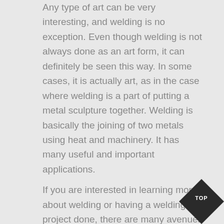Any type of art can be very interesting, and welding is no exception. Even though welding is not always done as an art form, it can definitely be seen this way. In some cases, it is actually art, as in the case where welding is a part of putting a metal sculpture together. Welding is basically the joining of two metals using heat and machinery. It has many useful and important applications.
If you are interested in learning more about welding or having a welding project done, there are many avenues that you might want to take. If you are interested in a certain type of welding project, you might want to get into contact with metal fabrication contractors. They will be able to tell you what kind of services they offer and they may be able to do for you. If you are just